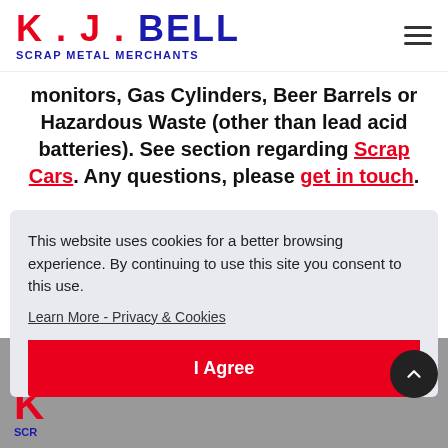K . J . BELL — SCRAP METAL MERCHANTS
monitors, Gas Cylinders, Beer Barrels or Hazardous Waste (other than lead acid batteries). See section regarding Scrap Cars. Any questions, please get in touch.
This website uses cookies for a better browsing experience. By continuing to use this site you consent to this use.
Learn More - Privacy & Cookies
I Agree
K — SCRAP METAL MERCHANTS